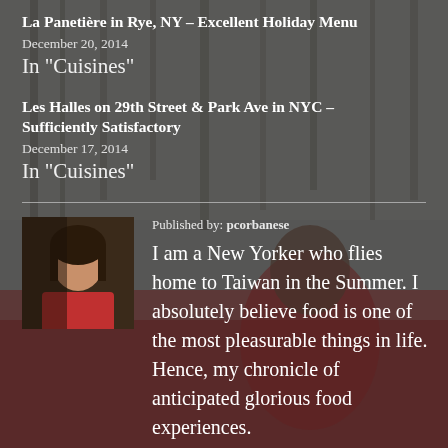La Panetière in Rye, NY – Excellent Holiday Menu
December 20, 2014
In "Cuisines"
Les Halles on 29th Street & Park Ave in NYC – Sufficiently Satisfactory
December 17, 2014
In "Cuisines"
Published by: pcorbanese
I am a New Yorker who flies home to Taiwan in the Summer. I absolutely believe food is one of the most pleasurable things in life. Hence, my chronicle of anticipated glorious food experiences.
[Figure (photo): Author avatar photo of a woman with long dark hair]
[Figure (photo): Background photo of a woman in red clothing among autumn red-leafed trees]